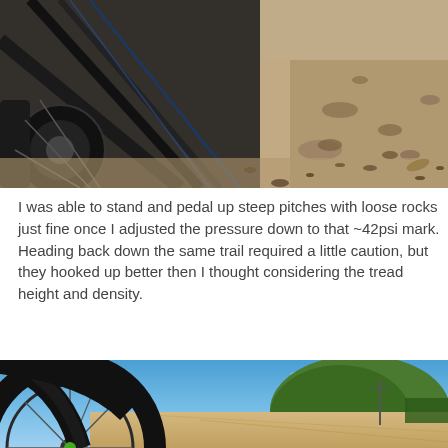[Figure (photo): Close-up photo of a mountain bike rear wheel and frame on a dusty, rocky dirt trail]
I was able to stand and pedal up steep pitches with loose rocks just fine once I adjusted the pressure down to that ~42psi mark. Heading back down the same trail required a little caution, but they hooked up better then I thought considering the tread height and density.
[Figure (photo): Low angle photo of a road bicycle wheel on a sandy gravel road with hills and blue sky in the background]